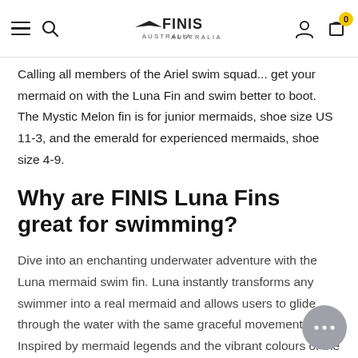FINIS Australia — navigation header with menu, search, logo, account, cart (0)
Calling all members of the Ariel swim squad... get your mermaid on with the Luna Fin and swim better to boot.  The Mystic Melon fin is for junior mermaids, shoe size US 11-3, and the emerald for experienced mermaids, shoe size 4-9.
Why are FINIS Luna Fins great for swimming?
Dive into an enchanting underwater adventure with the Luna mermaid swim fin. Luna instantly transforms any swimmer into a real mermaid and allows users to glide through the water with the same graceful movements. Inspired by mermaid legends and the vibrant colours of the sea, the Luna monofin also teaches a balanced underwater dolphin kick.
Here's how FINIS Luna Fins ca... you channel your inner dolphin: